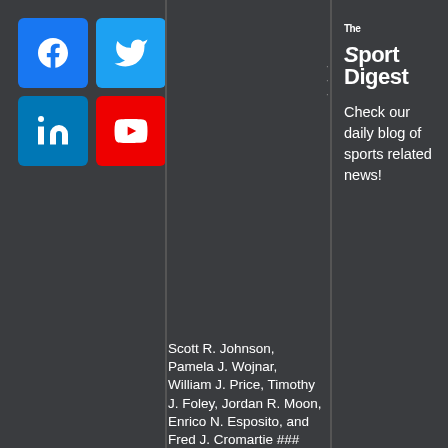[Figure (infographic): Social media icon buttons: Facebook (blue), Twitter (blue), LinkedIn (blue), YouTube (red)]
Scott R. Johnson, Pamela J. Wojnar, William J. Price, Timothy J. Foley, Jordan R. Moon, Enrico N. Esposito, and Fred J. Cromartie ### Abstract The coaching profession is ever-
[Figure (logo): The Sport Digest logo with tagline: Check our daily blog of sports related news!]